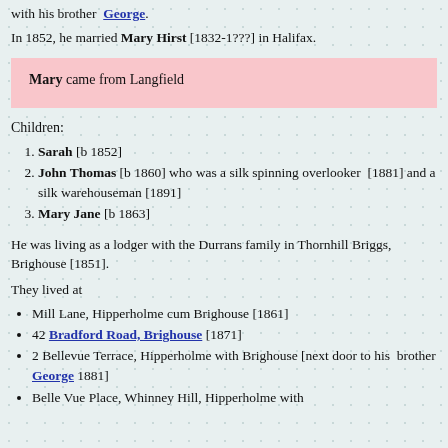with his brother George.
In 1852, he married Mary Hirst [1832-1???] in Halifax.
Mary came from Langfield
Children:
Sarah [b 1852]
John Thomas [b 1860] who was a silk spinning overlooker [1881] and a silk warehouseman [1891]
Mary Jane [b 1863]
He was living as a lodger with the Durrans family in Thornhill Briggs, Brighouse [1851].
They lived at
Mill Lane, Hipperholme cum Brighouse [1861]
42 Bradford Road, Brighouse [1871]
2 Bellevue Terrace, Hipperholme with Brighouse [next door to his brother George 1881]
Belle Vue Place, Whinney Hill, Hipperholme with Brighouse [1891]